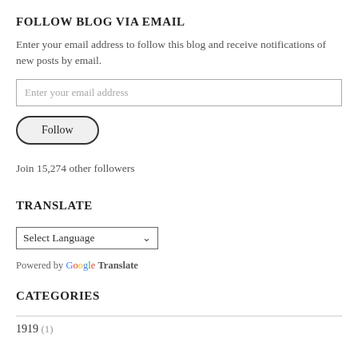FOLLOW BLOG VIA EMAIL
Enter your email address to follow this blog and receive notifications of new posts by email.
Enter your email address
Follow
Join 15,274 other followers
TRANSLATE
Select Language
Powered by Google Translate
CATEGORIES
1919 (1)